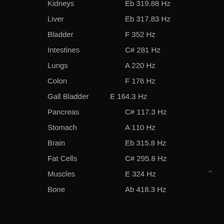Kidneys    Eb 319.88 Hz
Liver    Eb 317.83 Hz
Bladder    F 352 Hz
Intestines    C# 281 Hz
Lungs    A 220 Hz
Colon    F 176 Hz
Gall Bladder    E 164.3 Hz
Pancreas    C# 117.3 Hz
Stomach    A 110 Hz
Brain    Eb 315.8 Hz
Fat Cells    C# 295.8 Hz
Muscles    E 324 Hz
Bone    Ab 418.3 Hz